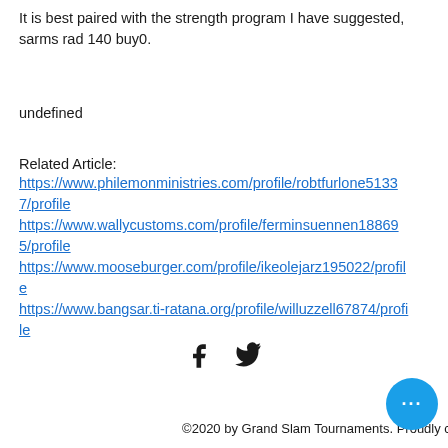It is best paired with the strength program I have suggested, sarms rad 140 buy0.
undefined
Related Article:
https://www.philemonministries.com/profile/robtfurlone51337/profile
https://www.wallycustoms.com/profile/ferminsuennen188695/profile
https://www.mooseburger.com/profile/ikeolejarz195022/profile
https://www.bangsar.ti-ratana.org/profile/willuzzell67874/profile
[Figure (illustration): Social media icons: Facebook (f) and Twitter (bird) icons in black]
©2020 by Grand Slam Tournaments. Proudly created with Wix.com